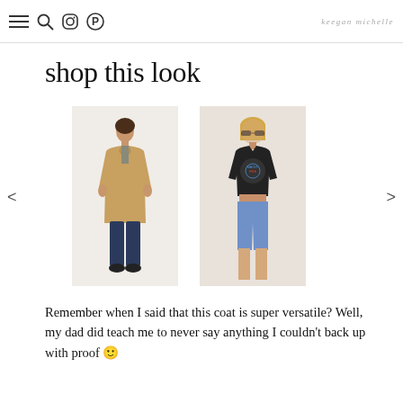keegan michelle
shop this look
[Figure (photo): Two fashion product photos side by side: left shows a woman in a tan/camel long coat with dark jeans and black shoes on white background; right shows a woman in a black graphic band tee crop top with denim shorts and sunglasses.]
Remember when I said that this coat is super versatile? Well, my dad did teach me to never say anything I couldn’t back up with proof 🙂